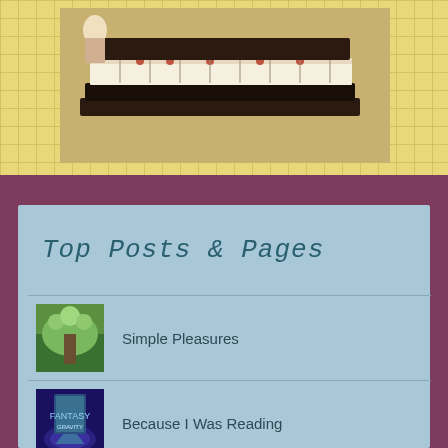[Figure (photo): Stack of books with decorative binding on a wooden surface, with a doll or figurine visible in the background, against a yellow grid-patterned background]
Top Posts & Pages
Simple Pleasures
Because I Was Reading
Pandemic Painting & A Better Year Ahead